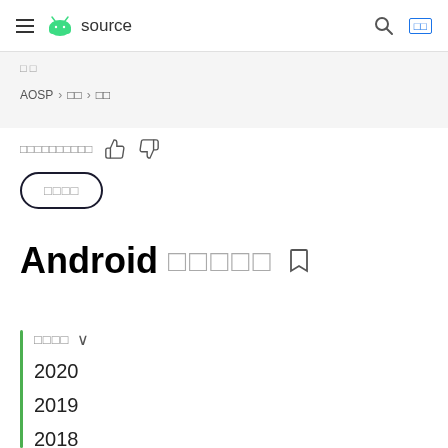Android source — navigation bar
□□
AOSP > □□ > □□
□□□□□□□□□□ 👍 👎
□□□□
Android □□□□□
□□□□ ∨
2020
2019
2018